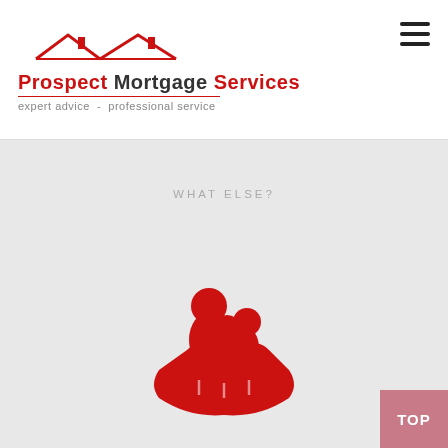Prospect Mortgage Services — expert advice - professional service
WHAT ELSE?
[Figure (illustration): Red icon of two people (adult and child) cradled in a protective hand, representing insurance/family protection]
INSURANCE
TOP